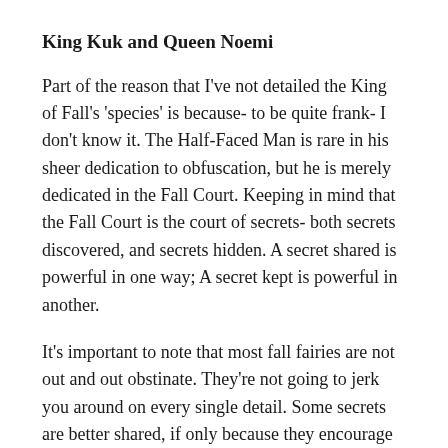King Kuk and Queen Noemi
Part of the reason that I've not detailed the King of Fall's 'species' is because- to be quite frank- I don't know it. The Half-Faced Man is rare in his sheer dedication to obfuscation, but he is merely dedicated in the Fall Court. Keeping in mind that the Fall Court is the court of secrets- both secrets discovered, and secrets hidden. A secret shared is powerful in one way; A secret kept is powerful in another.
It's important to note that most fall fairies are not out and out obstinate. They're not going to jerk you around on every single detail. Some secrets are better shared, if only because they encourage the sharing of further secrets. Fall Court fairies, as I